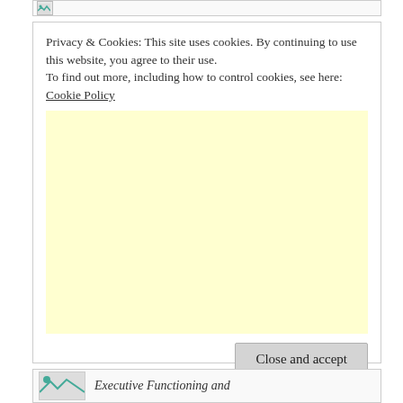[Figure (screenshot): Broken image placeholder at top of page]
Privacy & Cookies: This site uses cookies. By continuing to use this website, you agree to their use.
To find out more, including how to control cookies, see here: Cookie Policy
[Figure (other): Light yellow advertisement placeholder area]
Close and accept
[Figure (screenshot): Broken image thumbnail and partial title 'Executive Functioning and' at bottom of page]